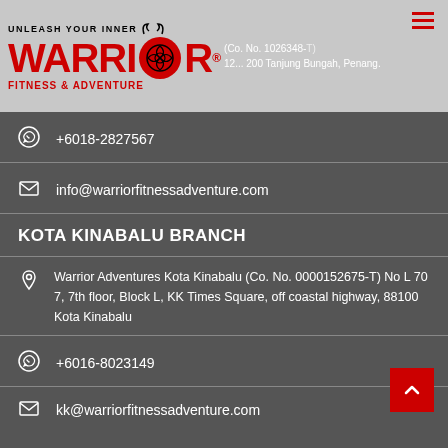[Figure (logo): Warrior Fitness & Adventure logo with UNLEASH YOUR INNER WARRIOR text and Celtic knot icon]
(Co. No. 1026348-T) 12... 200 Tanjung Bungah, Penang.
+6018-2827567
info@warriorfitnessadventure.com
KOTA KINABALU BRANCH
Warrior Adventures Kota Kinabalu (Co. No. 0000152675-T) No L 70 7, 7th floor, Block L, KK Times Square, off coastal highway, 88100 Kota Kinabalu
+6016-8023149
kk@warriorfitnessadventure.com